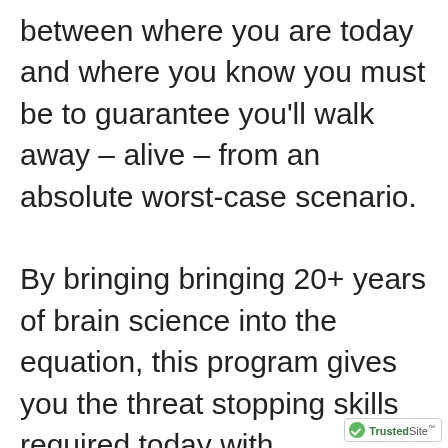between where you are today and where you know you must be to guarantee you'll walk away – alive – from an absolute worst-case scenario.

By bringing bringing 20+ years of brain science into the equation, this program gives you the threat stopping skills required today with surprisingly minimal effort o